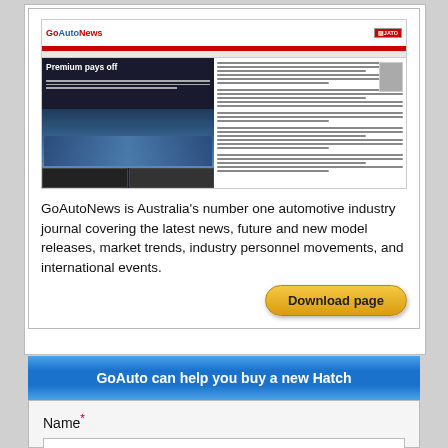[Figure (screenshot): GoAutoNews magazine front page screenshot showing 'Premium pays off' headline with car images and JATO branding]
GoAutoNews is Australia's number one automotive industry journal covering the latest news, future and new model releases, market trends, industry personnel movements, and international events.
Download page
GoAuto can help you buy a new Hatch
Name*